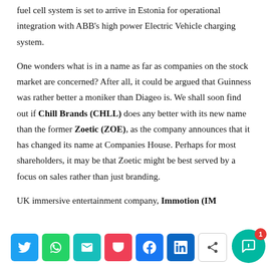fuel cell system is set to arrive in Estonia for operational integration with ABB's high power Electric Vehicle charging system.
One wonders what is in a name as far as companies on the stock market are concerned? After all, it could be argued that Guinness was rather better a moniker than Diageo is. We shall soon find out if Chill Brands (CHLL) does any better with its new name than the former Zoetic (ZOE), as the company announces that it has changed its name at Companies House. Perhaps for most shareholders, it may be that Zoetic might be best served by a focus on sales rather than just branding.
UK immersive entertainment company, Immotion (IM...